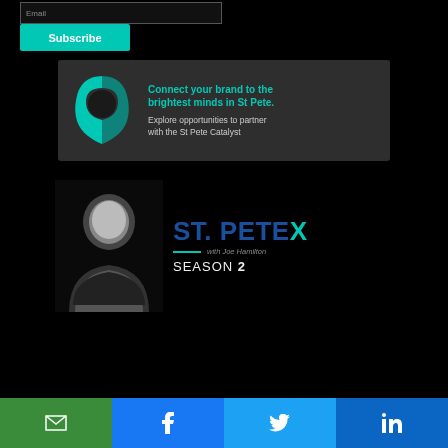Email
Subscribe
[Figure (illustration): St Pete Catalyst advertisement banner with teal/green logo and text: Connect your brand to the brightest minds in St Pete. Explore opportunities to partner with the St Pete Catalyst]
[Figure (illustration): St. Pete X Season 2 podcast promo with man in black shirt and ST. PETE X with Joe Hamilton SEASON 2 text]
email share button, Facebook share button, Twitter share button, LinkedIn share button